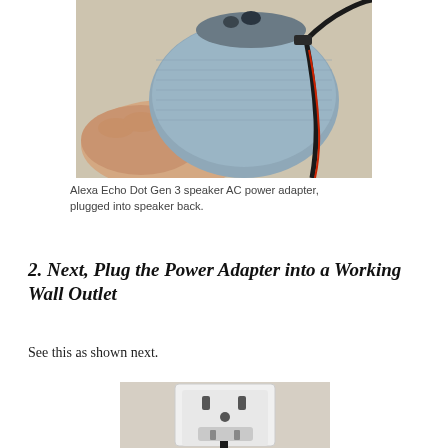[Figure (photo): A hand holding an Alexa Echo Dot Gen 3 speaker with an AC power adapter plugged into the back, on a carpeted surface.]
Alexa Echo Dot Gen 3 speaker AC power adapter, plugged into speaker back.
2. Next, Plug the Power Adapter into a Working Wall Outlet
See this as shown next.
[Figure (photo): A white electrical wall outlet with a power adapter plug being inserted into the bottom socket.]